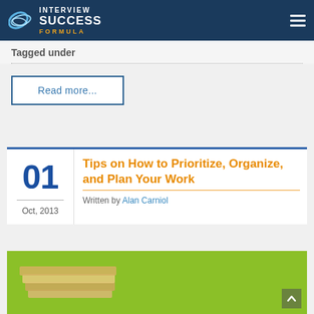Interview Success Formula
Tagged under
Read more...
Tips on How to Prioritize, Organize, and Plan Your Work
Written by Alan Carniol
01 Oct, 2013
[Figure (photo): Green background with stacked books illustration at bottom of page]